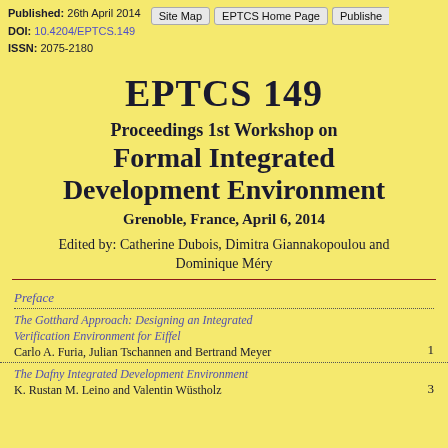Published: 26th April 2014
DOI: 10.4204/EPTCS.149
ISSN: 2075-2180
EPTCS 149
Proceedings 1st Workshop on Formal Integrated Development Environment
Grenoble, France, April 6, 2014
Edited by: Catherine Dubois, Dimitra Giannakopoulou and Dominique Méry
Preface
The Gotthard Approach: Designing an Integrated Verification Environment for Eiffel
Carlo A. Furia, Julian Tschannen and Bertrand Meyer	1
The Dafny Integrated Development Environment
K. Rustan M. Leino and Valentin Wüstholz	3